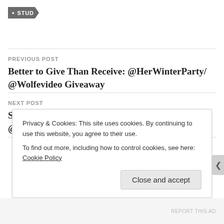• STUD
PREVIOUS POST
Better to Give Than Receive: @HerWinterParty/@Wolfevideo Giveaway
NEXT POST
Something Like A Super Lesbian: Liz Carmouche @iamgirlrilla
Privacy & Cookies: This site uses cookies. By continuing to use this website, you agree to their use.
To find out more, including how to control cookies, see here: Cookie Policy